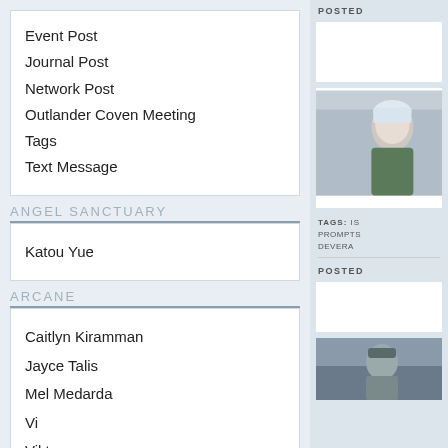Event Post
Journal Post
Network Post
Outlander Coven Meeting
Tags
Text Message
ANGEL SANCTUARY
Katou Yue
ARCANE
Caitlyn Kiramman
Jayce Talis
Mel Medarda
Vi
Viktor
APPALONIUS CREED
POSTED
TAGS: IS PROMPTS DEVERA
POSTED